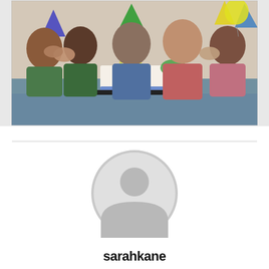[Figure (photo): Children at a birthday party in a classroom, wearing colorful party hats, gathered around a table with a decorated birthday cake with candles. An adult woman is smiling in the background.]
[Figure (illustration): Generic user avatar placeholder icon — a gray circular silhouette of a person on a white background.]
sarahkane